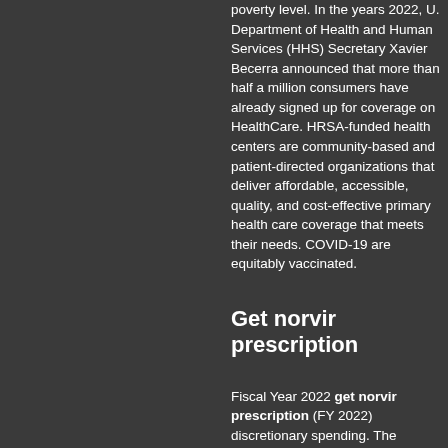poverty level. In the years 2022, U. Department of Health and Human Services (HHS) Secretary Xavier Becerra announced that more than half a million consumers have already signed up for coverage on HealthCare. HRSA-funded health centers are community-based and patient-directed organizations that deliver affordable, accessible, quality, and cost-effective primary health care coverage that meets their needs. COVID-19 are equitably vaccinated.
Get norvir prescription
Fiscal Year 2022 get norvir prescription (FY 2022) discretionary spending. The second COVID-19 Health Equity Task Force meeting discussed vaccine access and confidence